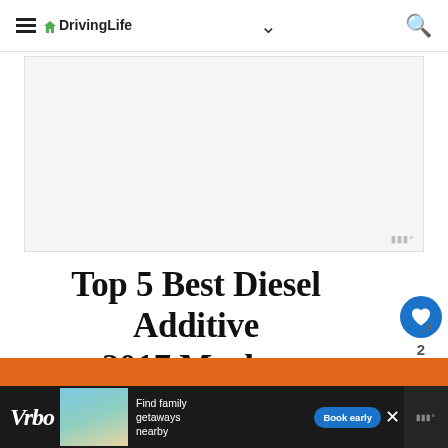DrivingLife
[Figure (other): Advertisement placeholder banner, light gray background with small watermark badge]
Top 5 Best Diesel Additive 2017 Market
[Figure (other): Social sidebar with heart/like button (blue circle), count of 2, and share button (blue circle)]
[Figure (other): Orange horizontal bar at bottom of content area]
[Figure (other): Bottom advertisement banner: Vrbo logo, beach house photo, 'Find family getaways nearby', 'Book early' button]